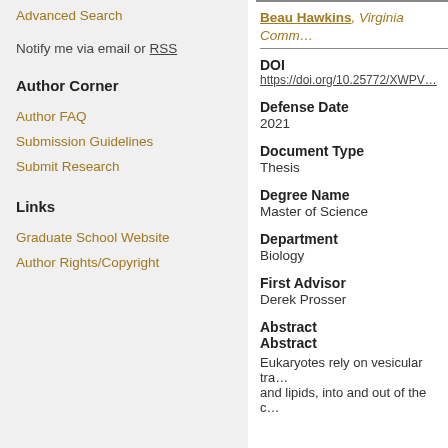Advanced Search
Notify me via email or RSS
Author Corner
Author FAQ
Submission Guidelines
Submit Research
Links
Graduate School Website
Author Rights/Copyright
Beau Hawkins, Virginia Comm…
DOI
https://doi.org/10.25772/XWPV…
Defense Date
2021
Document Type
Thesis
Degree Name
Master of Science
Department
Biology
First Advisor
Derek Prosser
Abstract
Abstract
Eukaryotes rely on vesicular tra…and lipids, into and out of the c…